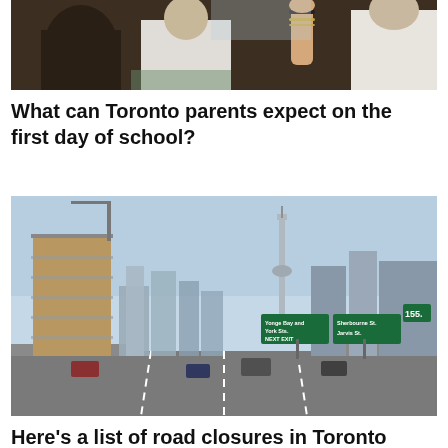[Figure (photo): Students in a classroom with a hand raised, blurred background]
What can Toronto parents expect on the first day of school?
[Figure (photo): Toronto skyline highway view with CN Tower and highway signs showing Yonge Bay and York Sts NEXT EXIT and Sherbourne St Jarvis St, with a building under construction on the left]
Here's a list of road closures in Toronto this Labour